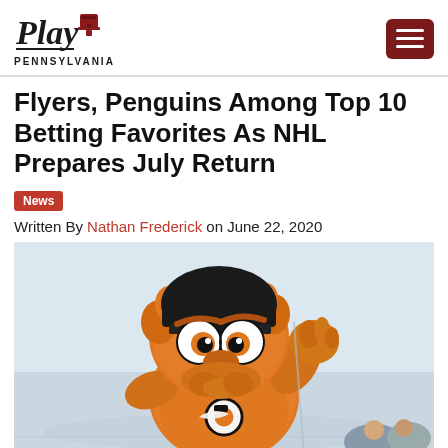Play Pennsylvania
Flyers, Penguins Among Top 10 Betting Favorites As NHL Prepares July Return
News
Written By Nathan Frederick on June 22, 2020
[Figure (photo): Gritty, the Philadelphia Flyers mascot, wearing an orange Flyers jersey and black helmet, waving on the ice.]